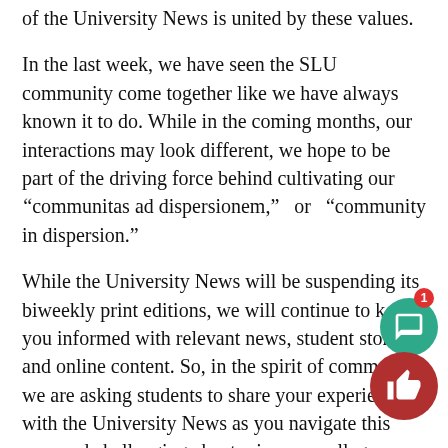of the University News is united by these values.
In the last week, we have seen the SLU community come together like we have always known it to do. While in the coming months, our interactions may look different, we hope to be part of the driving force behind cultivating our “communitas ad dispersionem,” or “community in dispersion.”
While the University News will be suspending its biweekly print editions, we will continue to keep you informed with relevant news, student stories and online content. So, in the spirit of community, we are asking students to share your experiences with the University News as you navigate this new and challenging chapter in your college experience. Fill out the submission form or email eic@unewsonline.com with any ideas or questions.
The University News is here to serve and support the SLU community, now more than ever. We want to thank you for your continued loyalty to our mission and we look forward